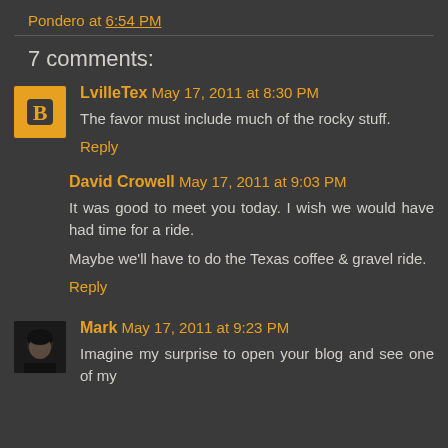Pondero at 6:54 PM
7 comments:
LvilleTex May 17, 2011 at 8:30 PM
The favor must include much of the rocky stuff.
Reply
David Crowell May 17, 2011 at 9:03 PM
It was good to meet you today. I wish we would have had time for a ride.

Maybe we'll have to do the Texas coffee & gravel ride.
Reply
Mark May 17, 2011 at 9:23 PM
Imagine my surprise to open your blog and see one of my